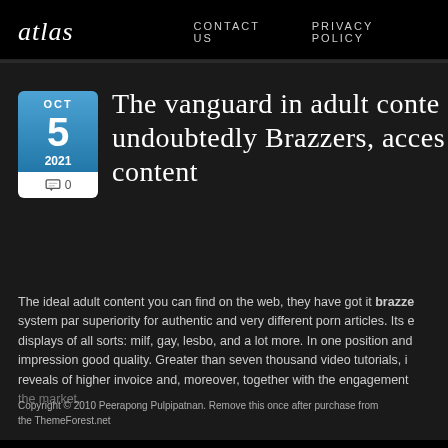Atlas  CONTACT US  PRIVACY POLICY
The vanguard in adult content undoubtedly Brazzers, access content
The ideal adult content you can find on the web, they have got it brazzers system par superiority for authentic and very different porn articles. Its displays of all sorts: milf, gay, lesbo, and a lot more. In one position and impression good quality. Greater than seven thousand video tutorials, i reveals of higher invoice and, moreover, together with the engagement the market. A substantial amount of original content material can make this founda
Copyright © 2010 Peerapong Pulpipatnan. Remove this once after purchase from the ThemeForest.net